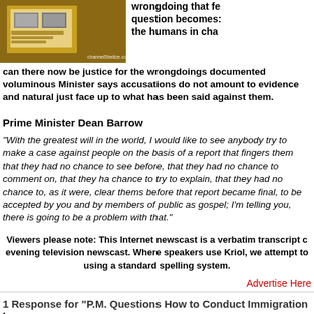[Figure (photo): Photo of printed documents/papers on a table, with channel5belize.com watermark]
wrongdoing that fe question becomes: the humans in cha can there now be justice for the wrongdoings documented voluminous Minister says accusations do not amount to evidence and natural just face up to what has been said against them.
Prime Minister Dean Barrow
“With the greatest will in the world, I would like to see anybody try to make a case against people on the basis of a report that fingers them that they had no chance to see before, that they had no chance to comment on, that they had no chance to try to explain, that they had no chance to, as it were, clear themselves before that report became final, to be accepted by you and by members of the public as gospel; I’m telling you, there is going to be a problem with that.”
Viewers please note: This Internet newscast is a verbatim transcript of the evening television newscast. Where speakers use Kriol, we attempt to spell it using a standard spelling system.
Advertise Here
1 Response for “P.M. Questions How to Conduct Immigration Inv…